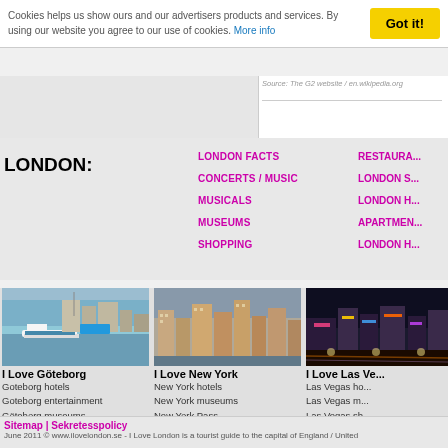Cookies helps us show ours and our advertisers products and services. By using our website you agree to our use of cookies. More info
Source: The G2 website / en.wikipedia.org
LONDON:
LONDON FACTS
CONCERTS / MUSIC
MUSICALS
MUSEUMS
SHOPPING
RESTAURA...
LONDON S...
LONDON H...
APARTMEN...
LONDON H...
[Figure (photo): Göteborg waterfront with a tourist boat and city buildings]
I Love Göteborg
Goteborg hotels
Goteborg entertainment
Göteborg museums
[Figure (photo): New York City skyline with skyscrapers]
I Love New York
New York hotels
New York museums
New York Pass
[Figure (photo): Las Vegas strip at night with bright lights]
I Love Las Ve...
Las Vegas ho...
Las Vegas m...
Las Vegas sh...
Sitemap | Sekretesspolicy
June 2011 © www.ilovelondon.se  -  I Love London is a tourist guide to the capital of England / United